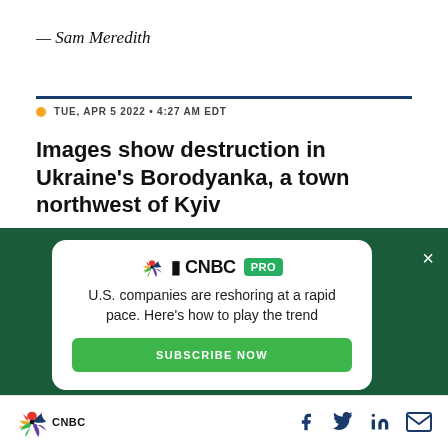— Sam Meredith
TUE, APR 5 2022 · 4:27 AM EDT
Images show destruction in Ukraine's Borodyanka, a town northwest of Kyiv
[Figure (infographic): CNBC PRO advertisement card on dark green background. Text: U.S. companies are reshoring at a rapid pace. Here's how to play the trend. Subscribe Now button.]
CNBC logo with social media icons: Facebook, Twitter, LinkedIn, Email